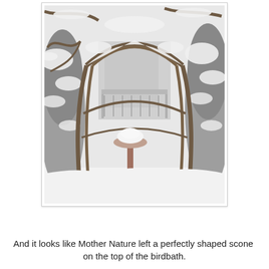[Figure (photo): A snow-covered garden scene showing a rustic wooden arbor arch made of twisted branches, snow-laden trees and evergreen shrubs on either side, a snow-covered birdbath with a rounded mound of snow on top, and a house with a porch visible in the background. The ground is blanketed in deep white snow.]
And it looks like Mother Nature left a perfectly shaped scone  on the top of the birdbath.